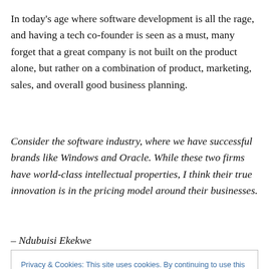In today's age where software development is all the rage, and having a tech co-founder is seen as a must, many forget that a great company is not built on the product alone, but rather on a combination of product, marketing, sales, and overall good business planning.
Consider the software industry, where we have successful brands like Windows and Oracle. While these two firms have world-class intellectual properties, I think their true innovation is in the pricing model around their businesses.
– Ndubuisi Ekekwe
Privacy & Cookies: This site uses cookies. By continuing to use this website, you agree to their use.
To find out more, including how to control cookies, see here: Cookie Policy
strategy? I ask… only to hear "oh, we'll think about that